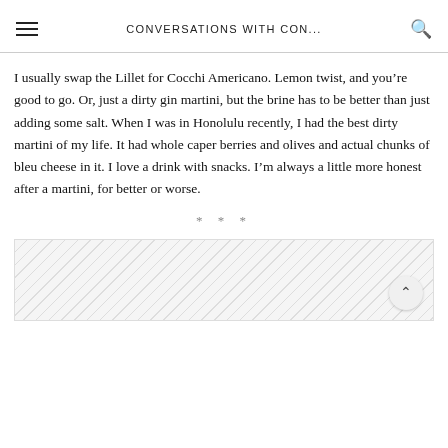CONVERSATIONS WITH CON...
I usually swap the Lillet for Cocchi Americano. Lemon twist, and you’re good to go. Or, just a dirty gin martini, but the brine has to be better than just adding some salt. When I was in Honolulu recently, I had the best dirty martini of my life. It had whole caper berries and olives and actual chunks of bleu cheese in it. I love a drink with snacks. I’m always a little more honest after a martini, for better or worse.
* * *
[Figure (other): Hatched grey box with a back-to-top arrow button in the bottom right corner]